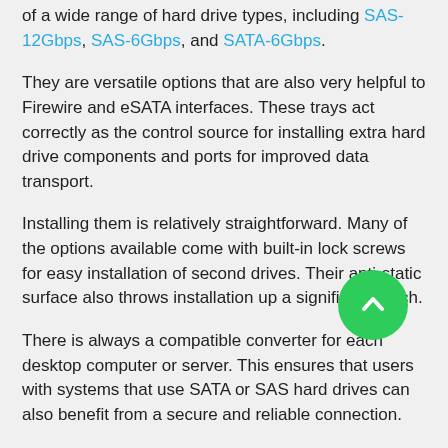of a wide range of hard drive types, including SAS-12Gbps, SAS-6Gbps, and SATA-6Gbps.
They are versatile options that are also very helpful to Firewire and eSATA interfaces. These trays act correctly as the control source for installing extra hard drive components and ports for improved data transport.
Installing them is relatively straightforward. Many of the options available come with built-in lock screws for easy installation of second drives. Their anti-static surface also throws installation up a significant notch.
There is always a compatible converter for each desktop computer or server. This ensures that users with systems that use SATA or SAS hard drives can also benefit from a secure and reliable connection.
Some hard drive hybrid tray models are also equipped with pre-fab mounting holes. These mounting holes to hold previously existing mounting equipment securely. When these mounting equipment are held securely, users can easily build on an extra hard drive component's improved storage capabilities.